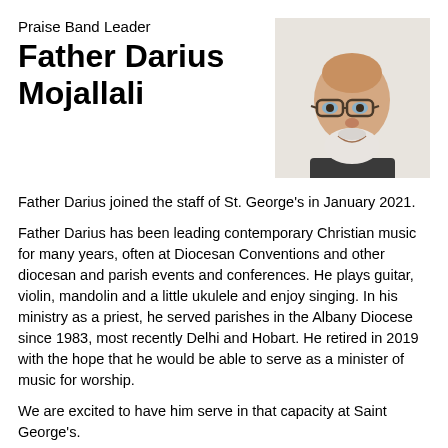Praise Band Leader
Father Darius Mojallali
[Figure (photo): Portrait photo of Father Darius Mojallali, a bald man with glasses and a white beard, wearing clerical collar and dark vest, smiling.]
Father Darius joined the staff of St. George's in January 2021.
Father Darius has been leading contemporary Christian music for many years, often at Diocesan Conventions and other diocesan and parish events and conferences. He plays guitar, violin, mandolin and a little ukulele and enjoy singing. In his ministry as a priest, he served parishes in the Albany Diocese since 1983, most recently Delhi and Hobart. He retired in 2019 with the hope that he would be able to serve as a minister of music for worship.
We are excited to have him serve in that capacity at Saint George's.